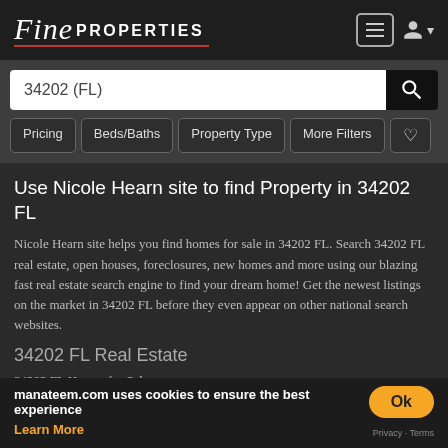[Figure (logo): Fine Properties logo with italic 'Fine' in script and 'PROPERTIES' in bold caps, with red underline]
Use Nicole Hearn site to find Property in 34202 FL
Nicole Hearn site helps you find homes for sale in 34202 FL. Search 34202 FL real estate, open houses, foreclosures, new homes and more using our blazing fast real estate search engine to find your dream home! Get the newest listings on the market in 34202 FL before they even appear on other national search websites.
34202 FL Real Estate
34202 FL Homes for Sale
34202 FL Single Family Homes
34202 FL Condos/Townhouses
manateem.com uses cookies to ensure the best experience
Learn More